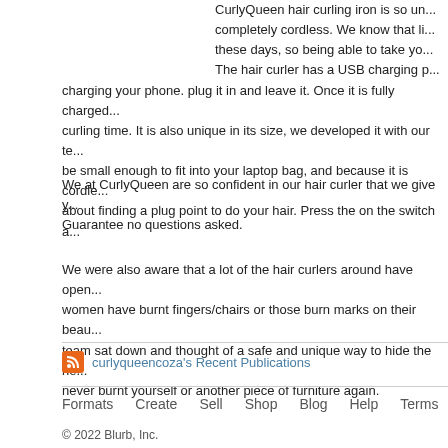CurlyQueen hair curling iron is so unique, completely cordless. We know that life is busy these days, so being able to take you... The hair curler has a USB charging p... charging your phone. plug it in and leave it. Once it is fully charged... curling time. It is also unique in its size, we developed it with our te... be small enough to fit into your laptop bag, and because it is cordle... about finding a plug point to do your hair. Press the on the switch a...
We at CurlyQueen are so confident in our hair curler that we give y... Guarantee no questions asked.
We were also aware that a lot of the hair curlers around have open... women have burnt fingers/chairs or those burn marks on their beau... team sat down and thought of a safe and unique way to hide the he... never burnt yourself or another piece of furniture again.
curlyqueencoza's Recent Publications
Formats   Create   Sell   Shop   Blog   Help   Terms
© 2022 Blurb, Inc.